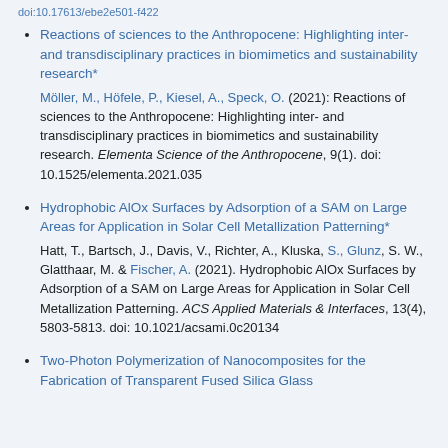doi:10.17613/ebe2e501-f422
Reactions of sciences to the Anthropocene: Highlighting inter- and transdisciplinary practices in biomimetics and sustainability research*
Möller, M., Höfele, P., Kiesel, A., Speck, O. (2021): Reactions of sciences to the Anthropocene: Highlighting inter- and transdisciplinary practices in biomimetics and sustainability research. Elementa Science of the Anthropocene, 9(1). doi: 10.1525/elementa.2021.035
Hydrophobic AlOx Surfaces by Adsorption of a SAM on Large Areas for Application in Solar Cell Metallization Patterning*
Hatt, T., Bartsch, J., Davis, V., Richter, A., Kluska, S., Glunz, S. W., Glatthaar, M. & Fischer, A. (2021). Hydrophobic AlOx Surfaces by Adsorption of a SAM on Large Areas for Application in Solar Cell Metallization Patterning. ACS Applied Materials & Interfaces, 13(4), 5803-5813. doi: 10.1021/acsami.0c20134
Two-Photon Polymerization of Nanocomposites for the Fabrication of Transparent Fused Silica Glass